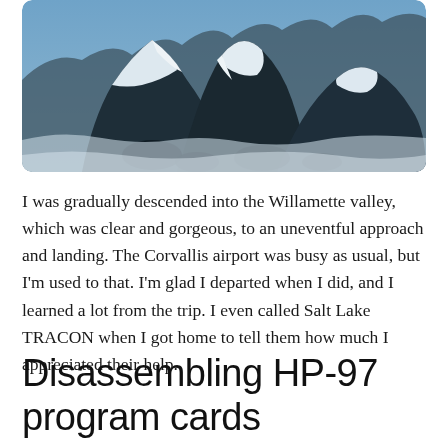[Figure (photo): Aerial photograph of a snow-capped mountain range, likely in the Pacific Northwest, showing peaks and volcanic terrain viewed from above with snow covering the landscape.]
I was gradually descended into the Willamette valley, which was clear and gorgeous, to an uneventful approach and landing. The Corvallis airport was busy as usual, but I'm used to that. I'm glad I departed when I did, and I learned a lot from the trip. I even called Salt Lake TRACON when I got home to tell them how much I appreciated their help.
Disassembling HP-97 program cards